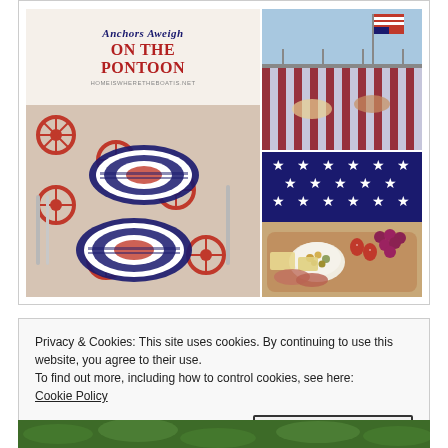[Figure (photo): Collage of nautical/patriotic themed photos: left side shows a card reading 'Anchors Aweigh ON THE PONTOON' with a website URL, below is a table set with red/white/blue nautical anchor ship-wheel patterned tablecloth and black-and-white striped plates. Right top shows a red/white/blue striped tablecloth on a pontoon boat with American flag. Right bottom shows American flag stars pattern fabric with a charcuterie/snack board with grapes, strawberries, nuts and crackers.]
Privacy & Cookies: This site uses cookies. By continuing to use this website, you agree to their use.
To find out more, including how to control cookies, see here:
Cookie Policy
Close and accept
[Figure (photo): Bottom strip showing green leafy garden background, partially visible.]